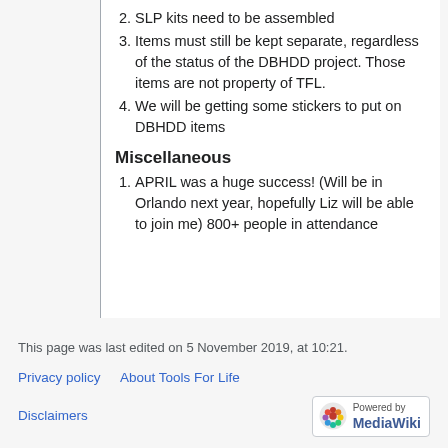2. SLP kits need to be assembled
3. Items must still be kept separate, regardless of the status of the DBHDD project. Those items are not property of TFL.
4. We will be getting some stickers to put on DBHDD items
Miscellaneous
1. APRIL was a huge success! (Will be in Orlando next year, hopefully Liz will be able to join me) 800+ people in attendance
This page was last edited on 5 November 2019, at 10:21.
Privacy policy   About Tools For Life
Disclaimers